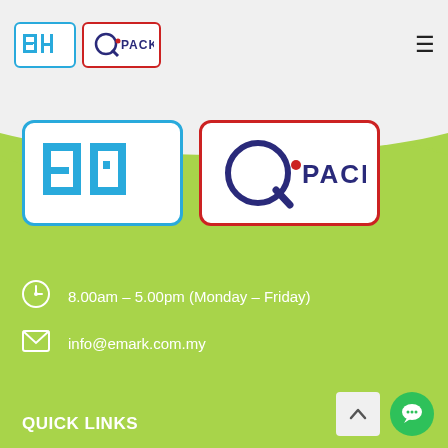[Figure (logo): Header with EM logo (blue border) and Q-Pack logo (red border) on grey background, with hamburger menu icon]
[Figure (illustration): Green background with white wave at top transitioning from header]
[Figure (logo): Large EM logo (blue border, white background) and large Q-Pack logo (red border, white background) on green background]
8.00am – 5.00pm (Monday – Friday)
info@emark.com.my
QUICK LINKS